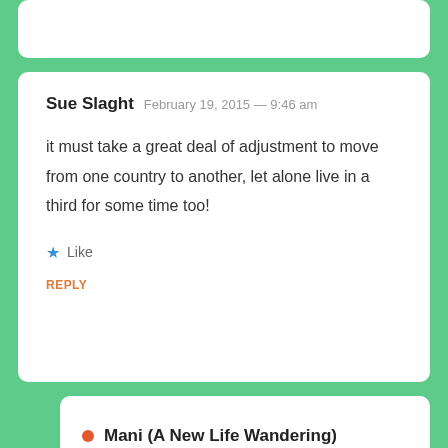Sue Slaght   February 19, 2015 — 9:46 am
it must take a great deal of adjustment to move from one country to another, let alone live in a third for some time too!
★ Like
REPLY
Mani (A New Life Wandering)